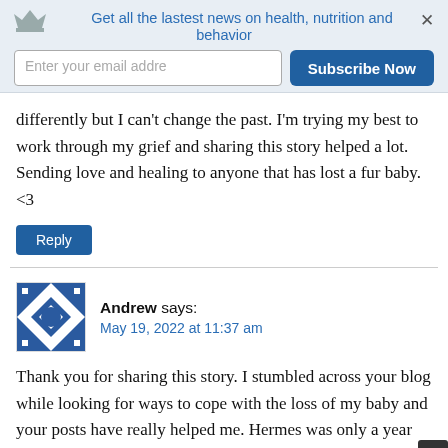Get all the lastest news on health, nutrition and behavior
differently but I can't change the past. I'm trying my best to work through my grief and sharing this story helped a lot. Sending love and healing to anyone that has lost a fur baby. <3
Reply
Andrew says:
May 19, 2022 at 11:37 am
Thank you for sharing this story. I stumbled across your blog while looking for ways to cope with the loss of my baby and your posts have really helped me. Hermes was only a year old and seemed perfectly healthy last week, but